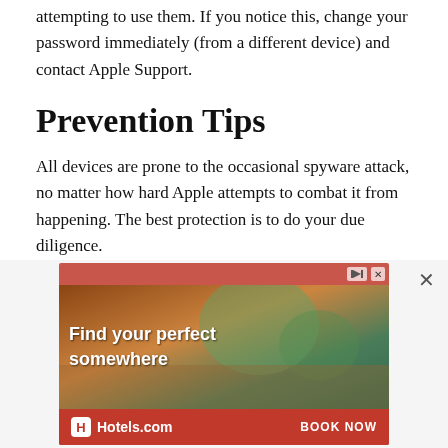attempting to use them. If you notice this, change your password immediately (from a different device) and contact Apple Support.
Prevention Tips
All devices are prone to the occasional spyware attack, no matter how hard Apple attempts to combat it from happening. The best protection is to do your due diligence.
Never leave your iPhone unattended, always keep iOS updated to the latest version, and opt for Touch ID over the use of a password. Practice these protective
[Figure (screenshot): Advertisement banner for Hotels.com showing a beach resort scene with text 'Find your perfect somewhere' and a 'BOOK NOW' call-to-action button. Red background with Hotels.com logo.]